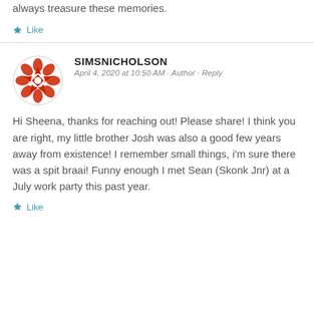always treasure these memories.
★ Like
SIMSNICHOLSON
April 4, 2020 at 10:50 AM · Author · Reply
Hi Sheena, thanks for reaching out! Please share! I think you are right, my little brother Josh was also a good few years away from existence! I remember small things, i'm sure there was a spit braai! Funny enough I met Sean (Skonk Jnr) at a July work party this past year.
★ Like